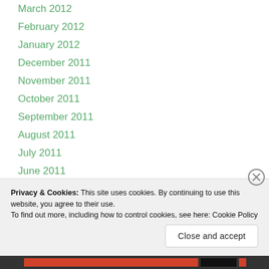March 2012
February 2012
January 2012
December 2011
November 2011
October 2011
September 2011
August 2011
July 2011
June 2011
May 2011
April 2011
Privacy & Cookies: This site uses cookies. By continuing to use this website, you agree to their use.
To find out more, including how to control cookies, see here: Cookie Policy
Close and accept